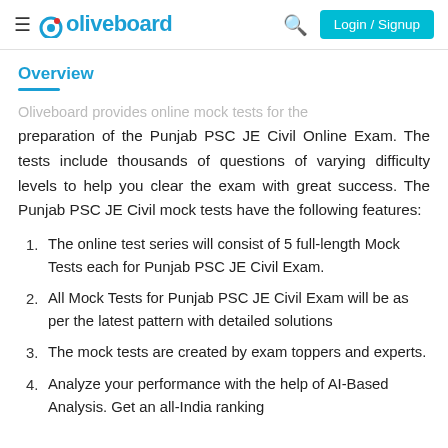oliveboard | Login / Signup
Overview
Oliveboard provides online mock tests for the preparation of the Punjab PSC JE Civil Online Exam. The tests include thousands of questions of varying difficulty levels to help you clear the exam with great success. The Punjab PSC JE Civil mock tests have the following features:
The online test series will consist of 5 full-length Mock Tests each for Punjab PSC JE Civil Exam.
All Mock Tests for Punjab PSC JE Civil Exam will be as per the latest pattern with detailed solutions
The mock tests are created by exam toppers and experts.
Analyze your performance with the help of AI-Based Analysis. Get an all-India ranking